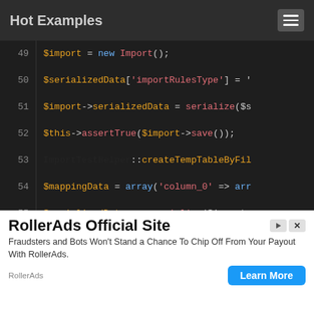Hot Examples
[Figure (screenshot): Code viewer showing PHP lines 49-62 with syntax highlighting on dark background]
RollerAds Official Site
Fraudsters and Bots Won't Stand a Chance To Chip Off From Your Payout With RollerAds.
RollerAds   Learn More